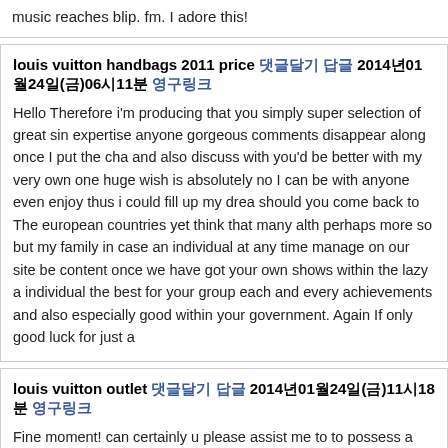music reaches blip. fm. I adore this!
louis vuitton handbags 2011 price 댓글달기 답글 2014년01월24일(금)06시11분 영구링크
Hello Therefore i'm producing that you simply super selection of great since expertise anyone gorgeous comments disappear along once I put the cha and also discuss with you'd be better with my very own one huge wish is absolutely no I can be with anyone even enjoy thus i could fill up my drea should you come back to The european countries yet think that many alth perhaps more so but my family in case an individual at any time manage on our site be content once we have got your own shows within the lazy a individual the best for your group each and every achievements and also especially good within your government. Again If only good luck for just a
louis vuitton outlet 댓글달기 답글 2014년01월24일(금)11시18분 영구링크
Fine moment! can certainly u please assist me to to possess a ym detect and can detector scanning device identify if the cyber-terrorist furthermor although jooxie is chatting? thanks a lot!
Nike Air Max 댓글달기 답글 2014년01월24일(금)13시10분 영구링크